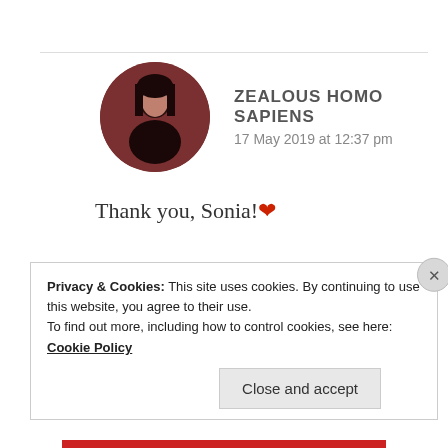[Figure (photo): Circular avatar photo of a person with dark hair against a dark reddish background]
ZEALOUS HOMO SAPIENS
17 May 2019 at 12:37 pm
Thank you, Sonia! ❤
★ Liked by 1 person
REPLY
Privacy & Cookies: This site uses cookies. By continuing to use this website, you agree to their use.
To find out more, including how to control cookies, see here: Cookie Policy
Close and accept